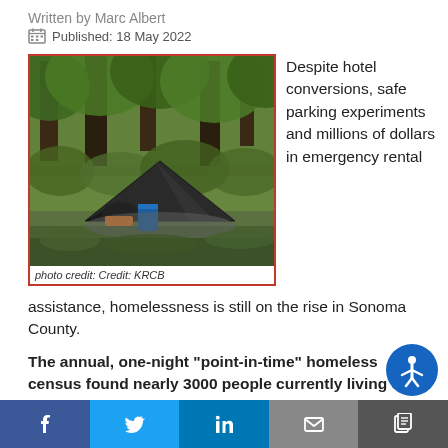Written by Marc Albert
Published: 18 May 2022
[Figure (photo): A homeless encampment with a dark tent among trees and greenery, photo credit: Credit: KRCB]
photo credit: Credit: KRCB
Despite hotel conversions, safe parking experiments and millions of dollars in emergency rental assistance, homelessness is still on the rise in Sonoma County.
The annual, one-night "point-in-time" homeless census found nearly 3000 people currently living on the streets of Sonoma County or experiencing some form of homelessness. That's up five percent fro…